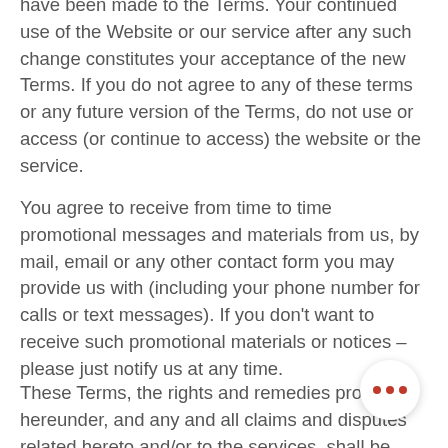have been made to the Terms. Your continued use of the Website or our service after any such change constitutes your acceptance of the new Terms. If you do not agree to any of these terms or any future version of the Terms, do not use or access (or continue to access) the website or the service.
You agree to receive from time to time promotional messages and materials from us, by mail, email or any other contact form you may provide us with (including your phone number for calls or text messages). If you don't want to receive such promotional materials or notices – please just notify us at any time.
These Terms, the rights and remedies provided hereunder, and any and all claims and disputes related hereto and/or to the services, shall be governed